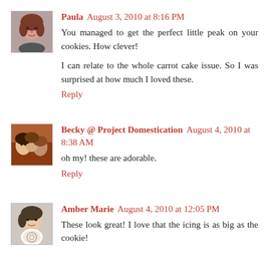[Figure (photo): Avatar photo of Paula, a woman with reddish-brown hair]
Paula August 3, 2010 at 8:16 PM
You managed to get the perfect little peak on your cookies. How clever!

I can relate to the whole carrot cake issue. So I was surprised at how much I loved these.
Reply
[Figure (photo): Avatar photo of Becky at Project Domestication, colorful group photo]
Becky @ Project Domestication August 4, 2010 at 8:38 AM
oh my! these are adorable.
Reply
[Figure (photo): Avatar photo of Amber Marie, person holding decorated item]
Amber Marie August 4, 2010 at 12:05 PM
These look great! I love that the icing is as big as the cookie!